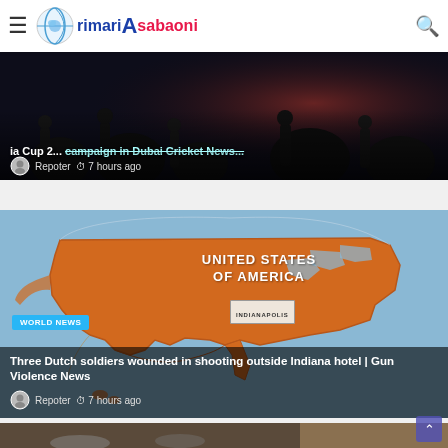rimari Asabaoni
[Figure (screenshot): Dark background article image with silhouettes, article about ia Cup 2... campaign in Dubai Cricket News. Repoter 7 hours ago.]
ia Cup 2... campaign in Dubai Cricket News...
Repoter  7 hours ago
[Figure (map): Map of the United States of America highlighted in orange on blue background, with INDIANAPOLIS labeled. WORLD NEWS badge visible.]
WORLD NEWS
Three Dutch soldiers wounded in shooting outside Indiana hotel | Gun Violence News
Repoter  7 hours ago
[Figure (photo): Bottom article showing a street scene with smoke/fire, partially visible.]